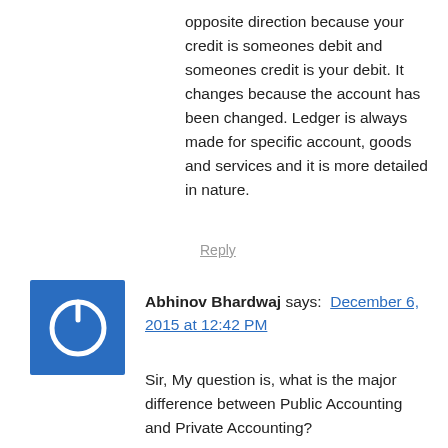opposite direction because your credit is someones debit and someones credit is your debit. It changes because the account has been changed. Ledger is always made for specific account, goods and services and it is more detailed in nature.
Reply
[Figure (logo): Blue square avatar with white power button icon]
Abhinov Bhardwaj says: December 6, 2015 at 12:42 PM
Sir, My question is, what is the major difference between Public Accounting and Private Accounting?